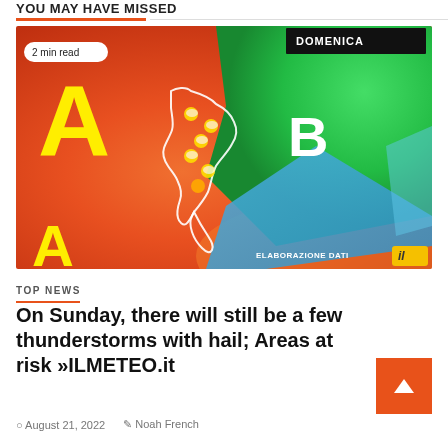YOU MAY HAVE MISSED
[Figure (map): Weather map of Italy showing pressure systems. Large yellow letter A on red/orange background (high pressure zone), letter B on green area (low pressure), blue area with storms, weather icons over Italy. Labels: DOMENICA, ELABORAZIONE DATI, 2 min read badge, il logo.]
TOP NEWS
On Sunday, there will still be a few thunderstorms with hail; Areas at risk »ILMETEO.it
August 21, 2022   Noah French